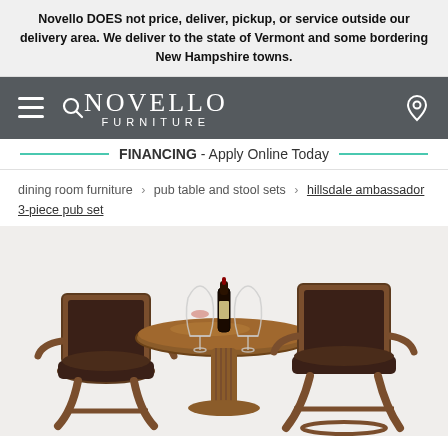Novello DOES not price, deliver, pickup, or service outside our delivery area. We deliver to the state of Vermont and some bordering New Hampshire towns.
NOVELLO FURNITURE
FINANCING - Apply Online Today
dining room furniture > pub table and stool sets > hillsdale ambassador 3-piece pub set
[Figure (photo): Photo of a hillsdale ambassador 3-piece pub set: a round high-top wooden pub table with a wine bottle and two wine glasses on it, flanked by two dark brown leather upholstered bar stools with wooden frames and armrests, on a light background.]